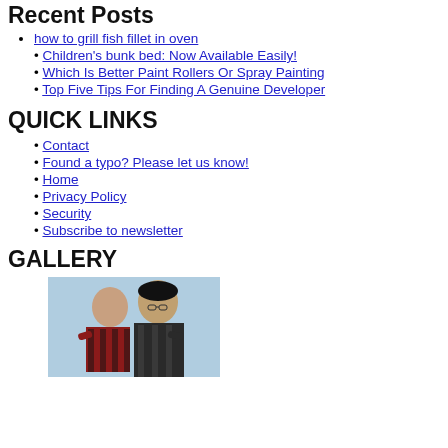Recent Posts
how to grill fish fillet in oven
Children's bunk bed: Now Available Easily!
Which Is Better Paint Rollers Or Spray Painting
Top Five Tips For Finding A Genuine Developer
QUICK LINKS
Contact
Found a typo? Please let us know!
Home
Privacy Policy
Security
Subscribe to newsletter
GALLERY
[Figure (photo): Two people hugging, one wearing a red and black plaid shirt, the other in a dark plaid shirt, indoors with a light blue background]